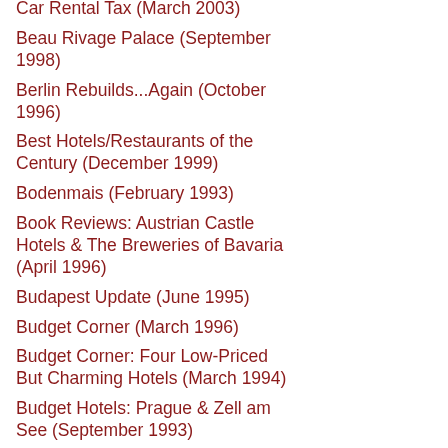Car Rental Tax (March 2003)
Beau Rivage Palace (September 1998)
Berlin Rebuilds...Again (October 1996)
Best Hotels/Restaurants of the Century (December 1999)
Bodenmais (February 1993)
Book Reviews: Austrian Castle Hotels & The Breweries of Bavaria (April 1996)
Budapest Update (June 1995)
Budget Corner (March 1996)
Budget Corner: Four Low-Priced But Charming Hotels (March 1994)
Budget Hotels: Prague & Zell am See (September 1993)
Budget Tours Best It (November...)